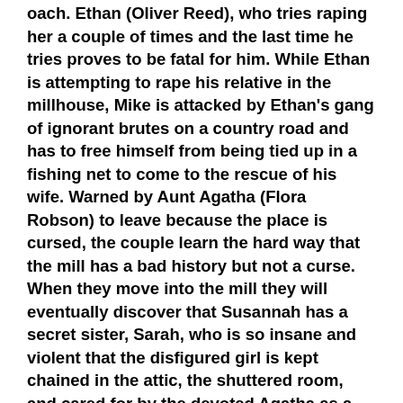oach. Ethan (Oliver Reed), who tries raping her a couple of times and the last time he tries proves to be fatal for him. While Ethan is attempting to rape his relative in the millhouse, Mike is attacked by Ethan's gang of ignorant brutes on a country road and has to free himself from being tied up in a fishing net to come to the rescue of his wife. Warned by Aunt Agatha (Flora Robson) to leave because the place is cursed, the couple learn the hard way that the mill has a bad history but not a curse. When they move into the mill they will eventually discover that Susannah has a secret sister, Sarah, who is so insane and violent that the disfigured girl is kept chained in the attic, the shuttered room, and cared for by the devoted Agatha as a promise to her parents.
The Shuttered Room was actually shot on location in Cornwall, England and completed at Twickenham studios. The acting ranges from poor to dreadful, with Lynley looking beautiful and scared throughout, Gig looking smug and